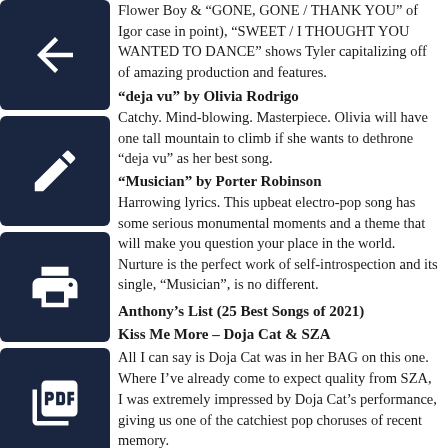Flower Boy & “GONE, GONE / THANK YOU” of Igor case in point), “SWEET / I THOUGHT YOU WANTED TO DANCE” shows Tyler capitalizing off of amazing production and features.
“deja vu” by Olivia Rodrigo
Catchy. Mind-blowing. Masterpiece. Olivia will have one tall mountain to climb if she wants to dethrone “deja vu” as her best song.
“Musician” by Porter Robinson
Harrowing lyrics. This upbeat electro-pop song has some serious monumental moments and a theme that will make you question your place in the world. Nurture is the perfect work of self-introspection and its single, “Musician”, is no different.
Anthony’s List (25 Best Songs of 2021)
Kiss Me More – Doja Cat & SZA
All I can say is Doja Cat was in her BAG on this one. Where I’ve already come to expect quality from SZA, I was extremely impressed by Doja Cat’s performance, giving us one of the catchiest pop choruses of recent memory.
Rumba (Puro Oro Anthem) – Maluma